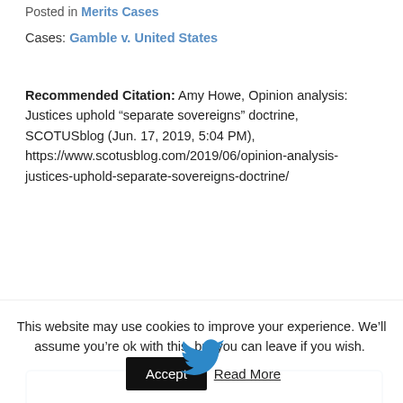Posted in Merits Cases
Cases: Gamble v. United States
Recommended Citation: Amy Howe, Opinion analysis: Justices uphold “separate sovereigns” doctrine, SCOTUSblog (Jun. 17, 2019, 5:04 PM), https://www.scotusblog.com/2019/06/opinion-analysis-justices-uphold-separate-sovereigns-doctrine/
[Figure (logo): Twitter bird logo above a bordered tweet embed box]
This website may use cookies to improve your experience. We’ll assume you’re ok with this, but you can leave if you wish. Accept Read More